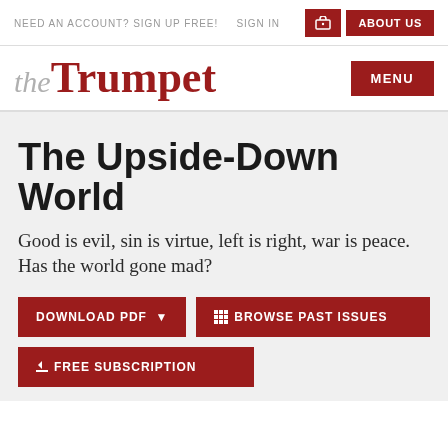NEED AN ACCOUNT? SIGN UP FREE!  SIGN IN  ABOUT US
the Trumpet
The Upside-Down World
Good is evil, sin is virtue, left is right, war is peace. Has the world gone mad?
DOWNLOAD PDF  BROWSE PAST ISSUES
FREE SUBSCRIPTION